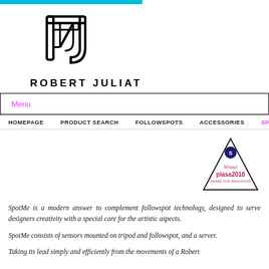[Figure (logo): Robert Juliat logo — stylized RJ lettermark in outline style above the text ROBERT JULIAT]
Menu
HOMEPAGE   PRODUCT SEARCH   FOLLOWSPOTS   ACCESSORIES   SPOTME - PO...
[Figure (logo): PLASA 2018 Award for Innovation triangle badge with 'Winner' text]
SpotMe is a modern answer to complement followspot technology, designed to serve designers creativity with a special care for the artistic aspects.
SpotMe consists of sensors mounted on tripod and followspot, and a server.
Taking its lead simply and efficiently from the movements of a Robert...